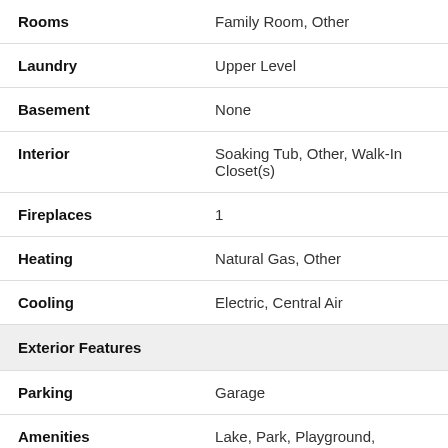| Field | Value |
| --- | --- |
| Rooms | Family Room, Other |
| Laundry | Upper Level |
| Basement | None |
| Interior | Soaking Tub, Other, Walk-In Closet(s) |
| Fireplaces | 1 |
| Heating | Natural Gas, Other |
| Cooling | Electric, Central Air |
| Exterior Features |  |
| Parking | Garage |
| Amenities | Lake, Park, Playground, Sidewalks |
| Water | Private... |